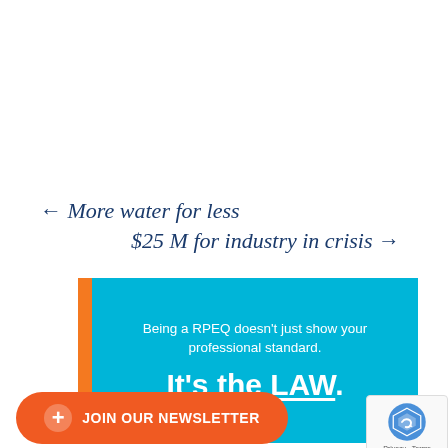← More water for less
$25 M for industry in crisis →
[Figure (other): Advertisement banner with cyan/teal background and orange left border. Text reads: 'Being a RPEQ doesn't just show your professional standard. It's the LAW.' with LAW underlined.]
+ JOIN OUR NEWSLETTER
[Figure (other): reCAPTCHA badge showing Privacy · Terms]